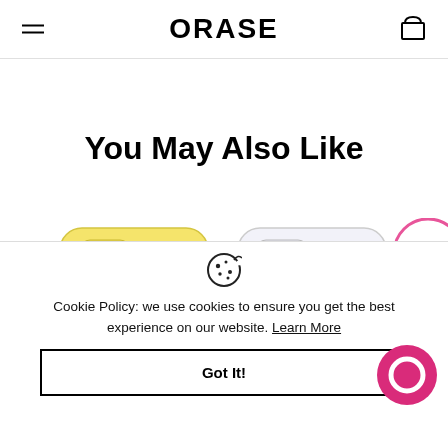ORASE
You May Also Like
[Figure (photo): Two phone cases on yellow and white/clear iPhones, partially visible at the bottom of the page content area. A pink circle badge with 'case sticker' text appears in the top right.]
[Figure (illustration): Cookie icon (cookie with bite taken out)]
Cookie Policy: we use cookies to ensure you get the best experience on our website. Learn More
Got It!